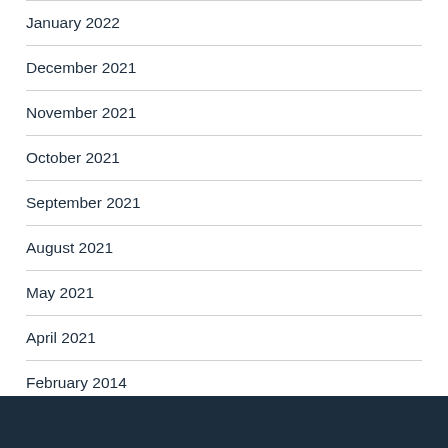January 2022
December 2021
November 2021
October 2021
September 2021
August 2021
May 2021
April 2021
February 2014